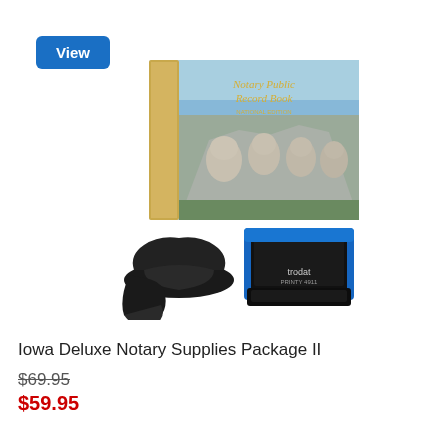[Figure (screenshot): Blue 'View' button in top left corner]
[Figure (photo): Iowa Deluxe Notary Supplies Package II product image showing a Notary Public Record Book with Mount Rushmore cover, a black embosser/seal press, and a blue/black Trodat self-inking stamp]
Iowa Deluxe Notary Supplies Package II
$69.95
$59.95